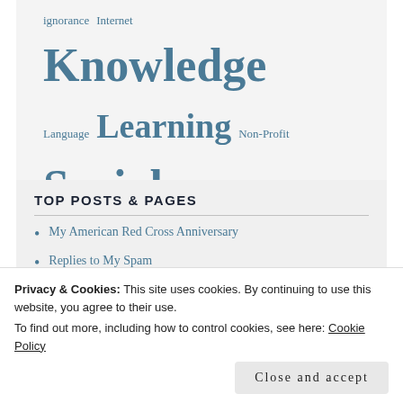ignorance Internet Knowledge Language Learning Non-Profit Social Media Technology
TOP POSTS & PAGES
My American Red Cross Anniversary
Replies to My Spam
I Fought Junk Mail and Won (One Battle)
Privacy & Cookies: This site uses cookies. By continuing to use this website, you agree to their use.
To find out more, including how to control cookies, see here: Cookie Policy
Close and accept